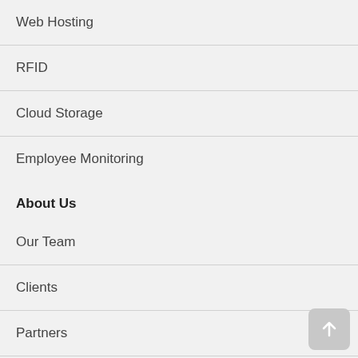Web Hosting
RFID
Cloud Storage
Employee Monitoring
About Us
Our Team
Clients
Partners
Certifications
Current News